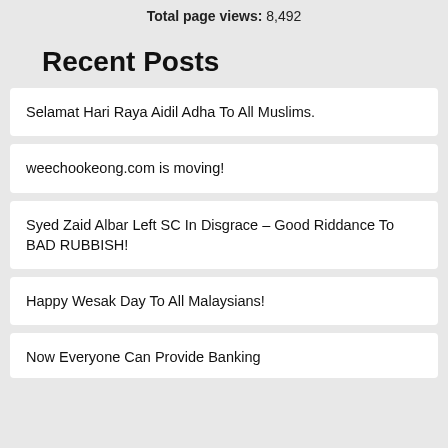Total page views: 8,492
Recent Posts
Selamat Hari Raya Aidil Adha To All Muslims.
weechookeong.com is moving!
Syed Zaid Albar Left SC In Disgrace – Good Riddance To BAD RUBBISH!
Happy Wesak Day To All Malaysians!
Now Everyone Can Provide Banking